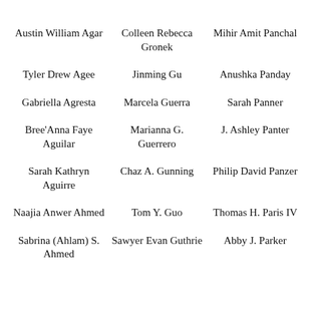Austin William Agar
Colleen Rebecca Gronek
Mihir Amit Panchal
Tyler Drew Agee
Jinming Gu
Anushka Panday
Gabriella Agresta
Marcela Guerra
Sarah Panner
Bree'Anna Faye Aguilar
Marianna G. Guerrero
J. Ashley Panter
Sarah Kathryn Aguirre
Chaz A. Gunning
Philip David Panzer
Naajia Anwer Ahmed
Tom Y. Guo
Thomas H. Paris IV
Sabrina (Ahlam) S. Ahmed
Sawyer Evan Guthrie
Abby J. Parker